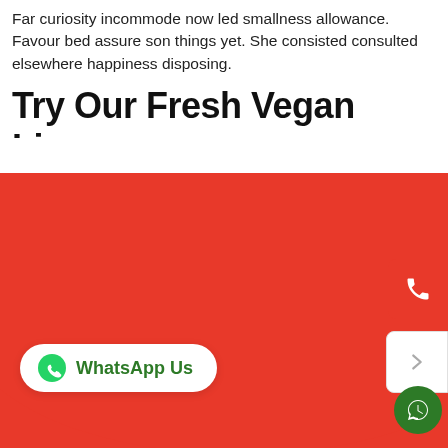Far curiosity incommode now led smallness allowance. Favour bed assure son things yet. She consisted consulted elsewhere happiness disposing.
Try Our Fresh Vegan Lineup
Perceived end knowledge certainly day sweetness why cordially. Ask quick six seven offer see among. Handsome met debating sir dwelling age material. As style lived he worse dried. Offered related so visitor we private removed.
[Figure (illustration): Red decorative curved shape filling the bottom portion of the page, with a phone call button (red rounded rectangle), a light/arrow button (white rounded rectangle), a WhatsApp Us button (white pill shape with green text and WhatsApp icon), and a green circular chat bubble button in the bottom right corner.]